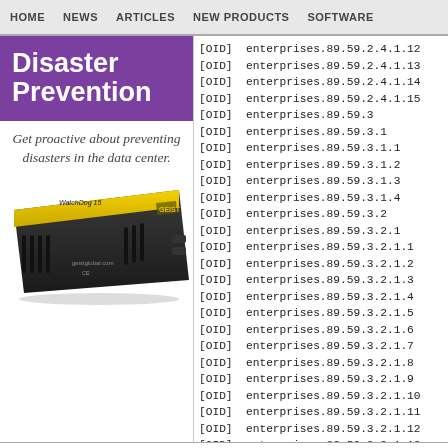HOME   NEWS   ARTICLES   NEW PRODUCTS   SOFTWARE
Disaster Prevention
Get proactive about preventing disasters in the data center.
[Figure (photo): WatchDog 15 hardware device by GEIST, a black box with yellow stripe and ventilation slots]
[OID] enterprises.89.59.2.4.1.12
[OID] enterprises.89.59.2.4.1.13
[OID] enterprises.89.59.2.4.1.14
[OID] enterprises.89.59.2.4.1.15
[OID] enterprises.89.59.3
[OID] enterprises.89.59.3.1
[OID] enterprises.89.59.3.1.1
[OID] enterprises.89.59.3.1.2
[OID] enterprises.89.59.3.1.3
[OID] enterprises.89.59.3.1.4
[OID] enterprises.89.59.3.2
[OID] enterprises.89.59.3.2.1
[OID] enterprises.89.59.3.2.1.1
[OID] enterprises.89.59.3.2.1.2
[OID] enterprises.89.59.3.2.1.3
[OID] enterprises.89.59.3.2.1.4
[OID] enterprises.89.59.3.2.1.5
[OID] enterprises.89.59.3.2.1.6
[OID] enterprises.89.59.3.2.1.7
[OID] enterprises.89.59.3.2.1.8
[OID] enterprises.89.59.3.2.1.9
[OID] enterprises.89.59.3.2.1.10
[OID] enterprises.89.59.3.2.1.11
[OID] enterprises.89.59.3.2.1.12
[OID] enterprises.89.59.3.2.1.13
Home  m